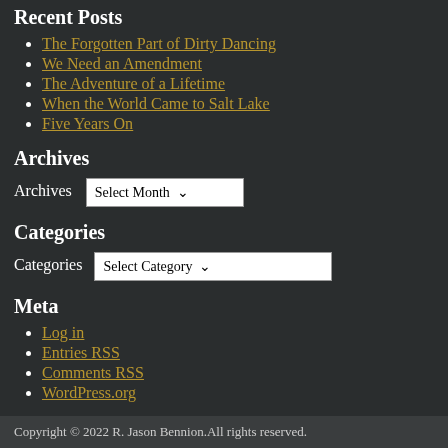Recent Posts
The Forgotten Part of Dirty Dancing
We Need an Amendment
The Adventure of a Lifetime
When the World Came to Salt Lake
Five Years On
Archives
Archives  [Select Month dropdown]
Categories
Categories  [Select Category dropdown]
Meta
Log in
Entries RSS
Comments RSS
WordPress.org
Copyright © 2022 R. Jason Bennion. All rights reserved.